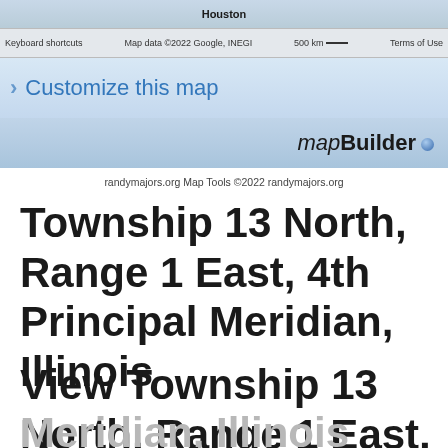[Figure (screenshot): Google Maps screenshot showing Houston area with map controls bar at top including 'Keyboard shortcuts', 'Map data ©2022 Google, INEGI', '500 km scale bar', and 'Terms of Use']
[Figure (screenshot): mapBuilder banner with 'Customize this map' link and mapBuilder logo with blue dot]
randymajors.org Map Tools ©2022 randymajors.org
Township 13 North, Range 1 East, 4th Principal Meridian, Illinois
View Township 13 North, Range 1 East, 4th Principal Meridian, Illinois Section Township Range...